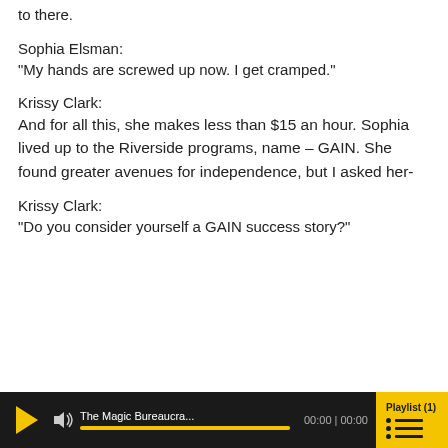to there.
Sophia Elsman:
“My hands are screwed up now. I get cramped.”
Krissy Clark:
And for all this, she makes less than $15 an hour. Sophia lived up to the Riverside programs, name – GAIN. She found greater avenues for independence, but I asked her-
Krissy Clark:
“Do you consider yourself a GAIN success story?”